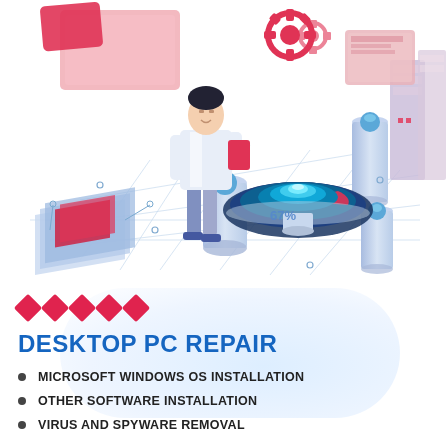[Figure (illustration): Isometric tech illustration showing a technician in a white coat holding a tablet, standing above glowing cylindrical pillars. Central glowing disc/orb element with teal/blue light. Red gear icons on floating screens. Server towers on right. Circuit board on left. Network connection lines across a white floor. '67%' label visible near the technician. Red and pink accent colors on panels.]
DESKTOP PC REPAIR
MICROSOFT WINDOWS OS INSTALLATION
OTHER SOFTWARE INSTALLATION
VIRUS AND SPYWARE REMOVAL